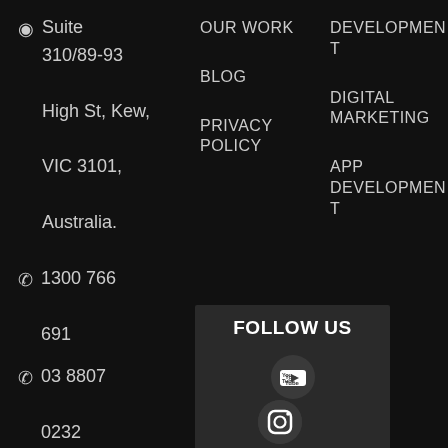Suite 310/89-93 High St, Kew, VIC 3101, Australia.
OUR WORK
BLOG
PRIVACY POLICY
DEVELOPMENT
DIGITAL MARKETING
APP DEVELOPMENT
1300 766 691
03 8807 0232
FOLLOW US
[Figure (logo): YouTube icon circle]
[Figure (logo): Instagram icon circle (partially visible)]